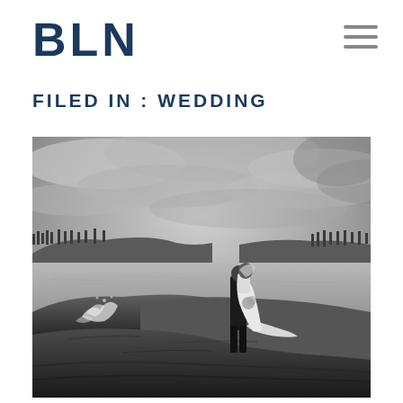BLN
FILED IN : WEDDING
[Figure (photo): Black and white photograph of a bride and groom kissing on rocky shoreline beside a large lake, with dramatic cloudy sky and forested cliffs in the background. Waves splash on the rocks nearby.]